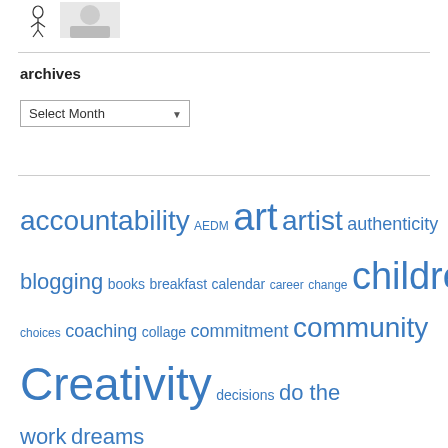[Figure (illustration): Two small images at the top: a line-art figure and a person photo]
archives
Select Month dropdown
accountability AEDM art artist authenticity blogging books breakfast calendar career change children choices coaching collage commitment community Creativity decisions do the work dreams expectations faith family fear finishing focus goals happiness ideas imagination inspiration intention intentions just